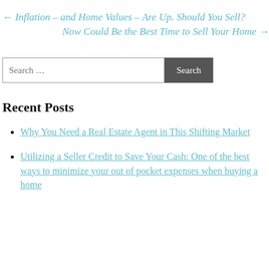← Inflation – and Home Values – Are Up. Should You Sell?
Now Could Be the Best Time to Sell Your Home →
Search …
Recent Posts
Why You Need a Real Estate Agent in This Shifting Market
Utilizing a Seller Credit to Save Your Cash: One of the best ways to minimize your out of pocket expenses when buying a home